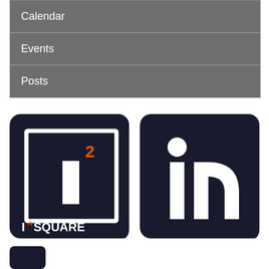Calendar
Events
Posts
[Figure (logo): I^SQUARE logo — dark background with white square outline, white vertical bar, orange superscript 2, and text I^SQUARE below]
[Figure (logo): LinkedIn logo — dark rounded square with white 'in' lettering]